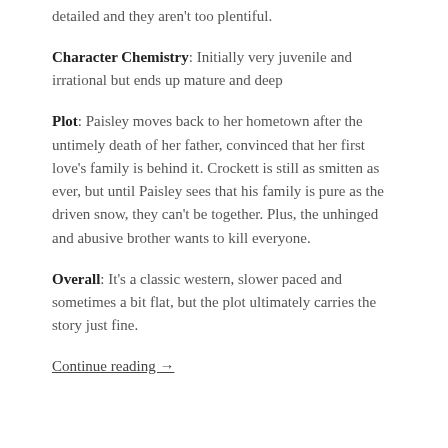detailed and they aren't too plentiful.
Character Chemistry: Initially very juvenile and irrational but ends up mature and deep
Plot: Paisley moves back to her hometown after the untimely death of her father, convinced that her first love's family is behind it. Crockett is still as smitten as ever, but until Paisley sees that his family is pure as the driven snow, they can't be together. Plus, the unhinged and abusive brother wants to kill everyone.
Overall: It's a classic western, slower paced and sometimes a bit flat, but the plot ultimately carries the story just fine.
Continue reading →